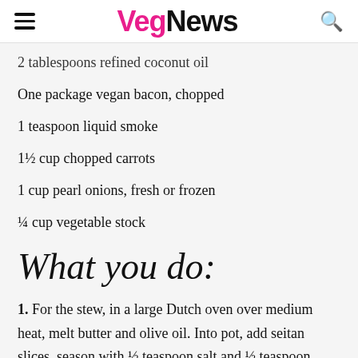VegNews
2 tablespoons refined coconut oil
One package vegan bacon, chopped
1 teaspoon liquid smoke
1½ cup chopped carrots
1 cup pearl onions, fresh or frozen
¼ cup vegetable stock
What you do:
1. For the stew, in a large Dutch oven over medium heat, melt butter and olive oil. Into pot, add seitan slices, season with ½ teaspoon salt and ½ teaspoon pepper, and allow to brown on one side. Flip and brown other side. Add